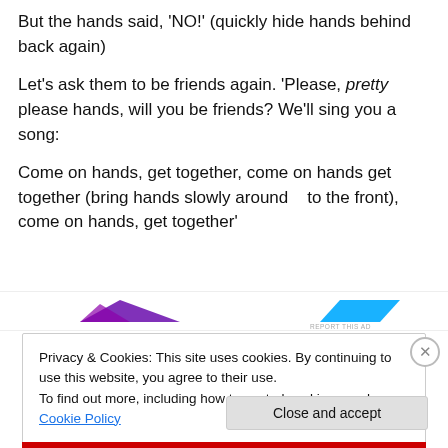But the hands said, ‘NO!’ (quickly hide hands behind back again)
Let’s ask them to be friends again. ‘Please, pretty please hands, will you be friends? We’ll sing you a song:
Come on hands, get together, come on hands get together (bring hands slowly around    to the front), come on hands, get together’
[Figure (other): Advertisement banner with purple and blue geometric shapes and 'REPORT THIS AD' text]
Privacy & Cookies: This site uses cookies. By continuing to use this website, you agree to their use.
To find out more, including how to control cookies, see here: Cookie Policy
Close and accept